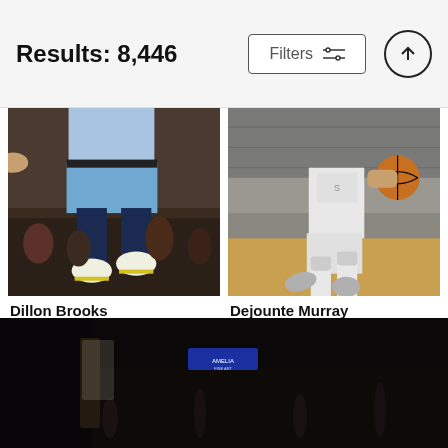Results: 8,446
[Figure (photo): Basketball player Dillon Brooks jumping in blue Grizzlies uniform, crowd in background]
Dillon Brooks
Stephen Gosling
$9.62
[Figure (photo): Basketball player Dejounte Murray dribbling in Spurs uniform on court]
Dejounte Murray
Logan Riely
$9.62
[Figure (photo): Arena crowd scene, dark interior with scoreboard signs visible]